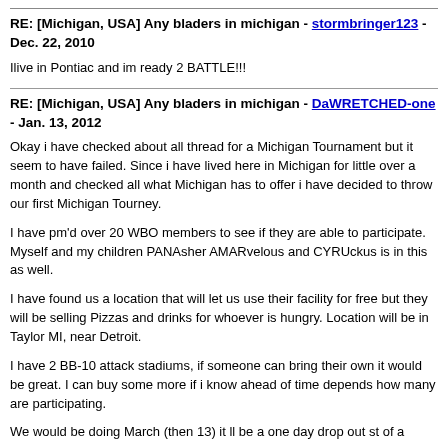RE: [Michigan, USA] Any bladers in michigan - stormbringer123 - Dec. 22, 2010
Ilive in Pontiac and im ready 2 BATTLE!!!
RE: [Michigan, USA] Any bladers in michigan - DaWRETCHED-one - Jan. 13, 2012
Okay i have checked about all thread for a Michigan Tournament but it seem to have failed. Since i have lived here in Michigan for little over a month and checked all what Michigan has to offer i have decided to throw our first Michigan Tourney.
I have pm'd over 20 WBO members to see if they are able to participate. Myself and my children PANAsher AMARvelous and CYRUckus is in this as well.
I have found us a location that will let us use their facility for free but they will be selling Pizzas and drinks for whoever is hungry. Location will be in Taylor MI, near Detroit.
I have 2 BB-10 attack stadiums, if someone can bring their own it would be great. I can buy some more if i know ahead of time depends how many are participating.
We would be doing March (then 13) it ll be a one day drop out st of a